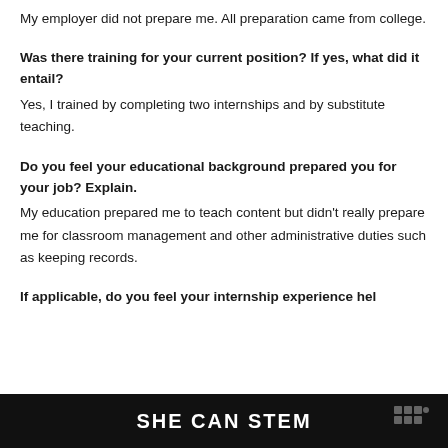My employer did not prepare me. All preparation came from college.
Was there training for your current position? If yes, what did it entail?
Yes, I trained by completing two internships and by substitute teaching.
Do you feel your educational background prepared you for your job? Explain.
My education prepared me to teach content but didn't really prepare me for classroom management and other administrative duties such as keeping records.
If applicable, do you feel your internship experience hel...
SHE CAN STEM